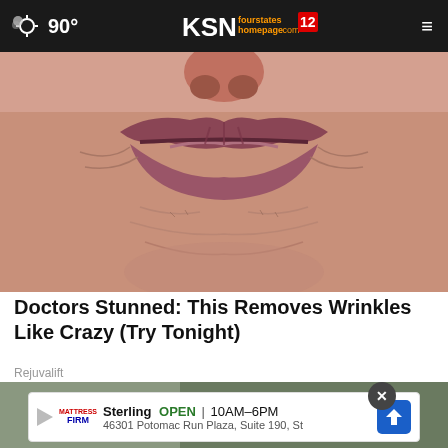90° KSN fourstates homepage.com 12
[Figure (photo): Extreme close-up macro photograph of elderly person's lips and surrounding skin showing heavy wrinkles]
Doctors Stunned: This Removes Wrinkles Like Crazy (Try Tonight)
Rejuvalift
[Figure (photo): Partially visible second article image showing outdoor/street scene]
Sterling  OPEN | 10AM–6PM  46301 Potomac Run Plaza, Suite 190, St